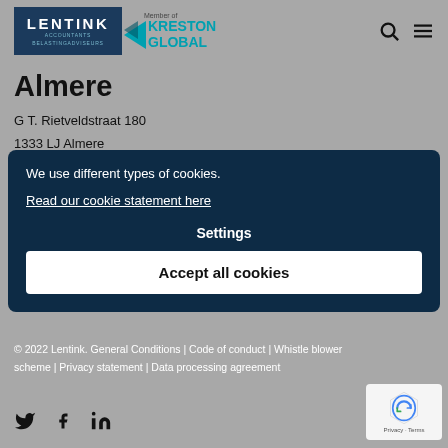[Figure (logo): Lentink Accountants Belastingadviseurs logo with Kreston Global member badge]
Almere
G T. Rietveldstraat 180
1333 LJ Almere
We use different types of cookies.
Read our cookie statement here
Settings
Accept all cookies
© 2022 Lentink. General Conditions | Code of conduct | Whistle blower scheme | Privacy statement | Data processing agreement
[Figure (logo): reCAPTCHA Privacy - Terms badge]